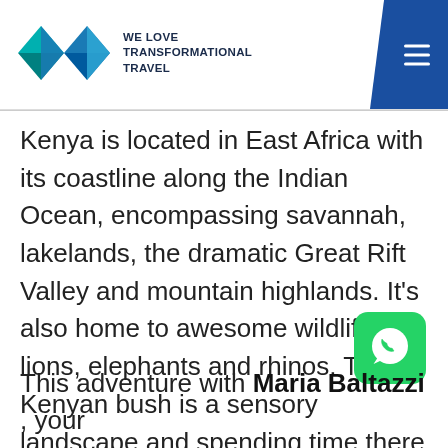WE LOVE TRANSFORMATIONAL TRAVEL
Kenya is located in East Africa with its coastline along the Indian Ocean, encompassing savannah, lakelands, the dramatic Great Rift Valley and mountain highlands. It’s also home to awesome wildlife like lions, elephants and rhinos. The Kenyan bush is a sensory landscape and spending time there can be a life changing experience.
[Figure (logo): WhatsApp icon button (green rounded square with white phone handset in speech bubble)]
This adventure with Maria Baltazzi , your